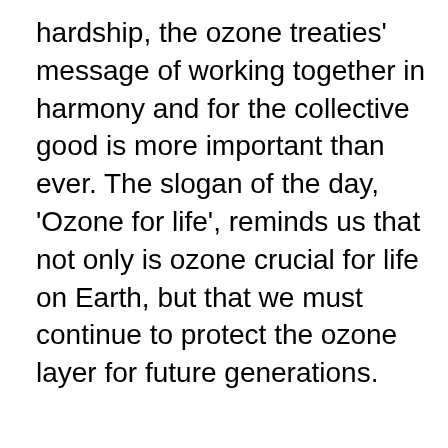hardship, the ozone treaties' message of working together in harmony and for the collective good is more important than ever. The slogan of the day, 'Ozone for life', reminds us that not only is ozone crucial for life on Earth, but that we must continue to protect the ozone layer for future generations.